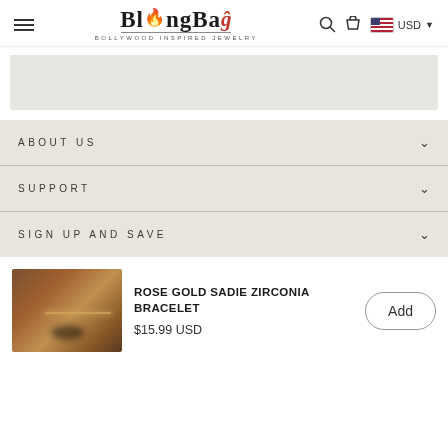[Figure (logo): BlingBag logo with flame over 'i', red swirl on 'G', tagline 'BOLLYWOOD INSPIRED JEWELRY']
[Figure (other): Gray banner placeholder box]
ABOUT US
SUPPORT
SIGN UP AND SAVE
[Figure (photo): Rose gold bracelet on dark background]
ROSE GOLD SADIE ZIRCONIA BRACELET
$15.99 USD